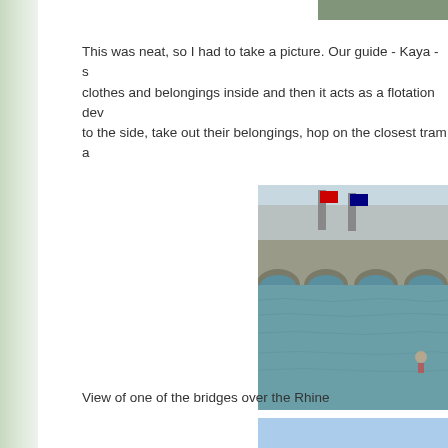[Figure (photo): Partial photo visible at top right corner of page]
This was neat, so I had to take a picture.  Our guide - Kaya - s clothes and belongings inside and then it acts as a flotation dev to the side, take out their belongings, hop on the closest tram a
[Figure (photo): View of a stone bridge with arches over the Rhine river, with buildings and flags visible in the background. A person is visible in the water.]
View of one of the bridges over the Rhine
[Figure (photo): Partial photo at the bottom right, showing a blue sky]